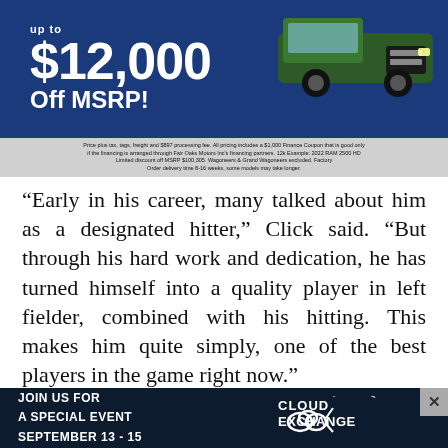[Figure (infographic): Car dealership advertisement showing 'up to $12,000 Off MSRP!' in white bold text on blue background with a green RAM truck on the right side. Fine print below.]
“Early in his career, many talked about him as a designated hitter,” Click said. “But through his hard work and dedication, he has turned himself into a quality player in left fielder, combined with his hitting. This makes him quite simply, one of the best players in the game right now.”
As Álvarez discussed his contract Monday, seven teammates including Altuve and fellow Cuban...hed from...
[Figure (infographic): Dark blue advertisement banner reading 'JOIN US FOR A SPECIAL EVENT SEPTEMBER 13 - 15' with 'CLOUD EXCHANGE' logo on the right side.]